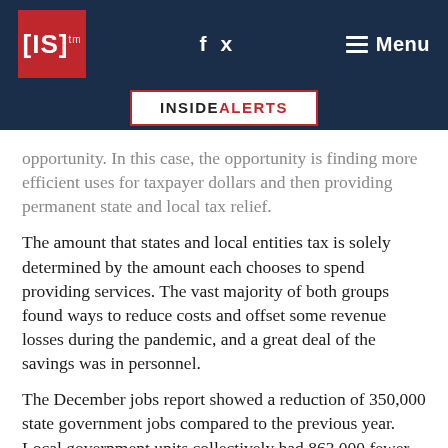[IS]™ INSIDE ALERTS — navigation header
opportunity. In this case, the opportunity is finding more efficient uses for taxpayer dollars and then providing permanent state and local tax relief.
The amount that states and local entities tax is solely determined by the amount each chooses to spend providing services. The vast majority of both groups found ways to reduce costs and offset some revenue losses during the pandemic, and a great deal of the savings was in personnel.
The December jobs report showed a reduction of 350,000 state government jobs compared to the previous year. Local government units collectively had 863,000 fewer workers